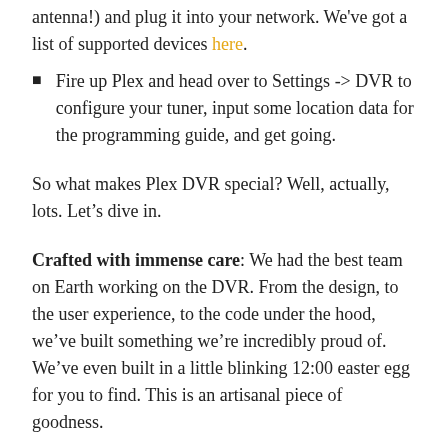antenna!) and plug it into your network. We've got a list of supported devices here.
Fire up Plex and head over to Settings -> DVR to configure your tuner, input some location data for the programming guide, and get going.
So what makes Plex DVR special? Well, actually, lots. Let's dive in.
Crafted with immense care: We had the best team on Earth working on the DVR. From the design, to the user experience, to the code under the hood, we've built something we're incredibly proud of. We've even built in a little blinking 12:00 easter egg for you to find. This is an artisanal piece of goodness.
All the best data, for your data: We licensed global program guide data for 71 countries from the best in the business: Gracenote. Given that data quality